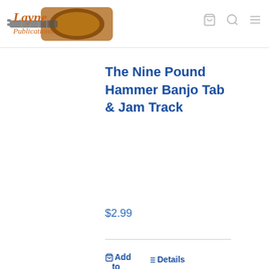[Figure (logo): Layne Publications logo with guitar and text]
The Nine Pound Hammer Banjo Tab & Jam Track
$2.99
Add to cart
Details